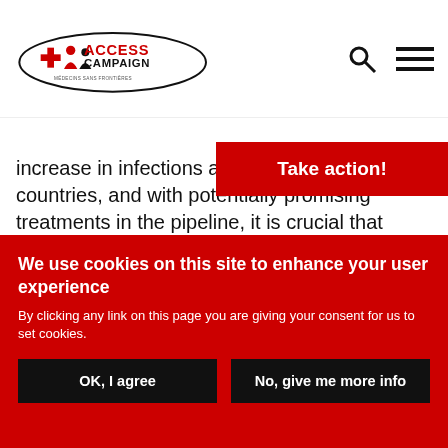[Figure (logo): MSF Access Campaign logo with oval border, red ACCESS CAMPAIGN text, and Médecins Sans Frontières text below]
[Figure (other): Search icon (magnifying glass) and hamburger menu icon in top right navigation]
Take action!
increase in infections and deaths in countries, and with potentially promising treatments in the pipeline, it is crucial that governments have every flexibility at their disposal to beat back this pandemic.
The revised proposal is aimed at ensuring that the
We use cookies on this site to enhance your user experience
By clicking any link on this page you are giving your consent for us to set cookies.
OK, I agree
No, give me more info